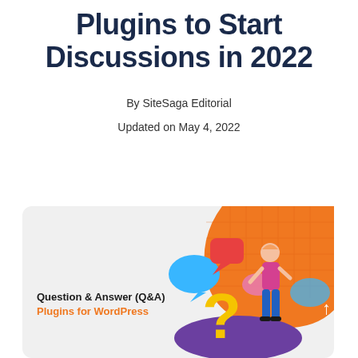Plugins to Start Discussions in 2022
By SiteSaga Editorial
Updated on May 4, 2022
[Figure (illustration): Question & Answer (Q&A) Plugins for WordPress promotional banner with illustrated character surrounded by speech bubbles and a large question mark, orange background accent on right side]